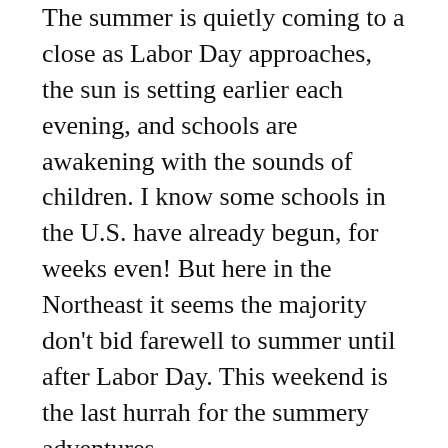The summer is quietly coming to a close as Labor Day approaches, the sun is setting earlier each evening, and schools are awakening with the sounds of children. I know some schools in the U.S. have already begun, for weeks even! But here in the Northeast it seems the majority don't bid farewell to summer until after Labor Day. This weekend is the last hurrah for the summery adventures.
And this brings to mind a few last beach books to soak up as much sun, swimming, and sand castle building as possible before the chilly weather starts to beckon. One of my favorite new beach books from the summer is this one, which made its debut at the beginning of the summer from Chronicle Books. Written poetically, in a way that